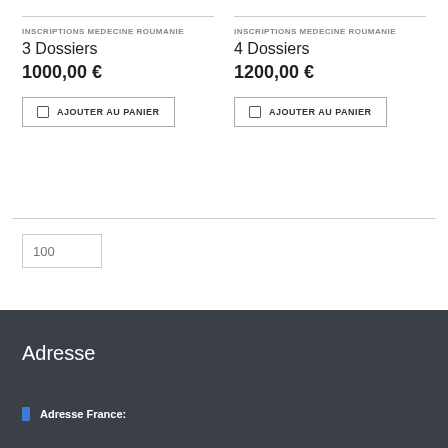INSCRIPTIONS MEDECINE ROUMANIE
3 Dossiers
1000,00 €
INSCRIPTIONS MEDECINE ROUMANIE
4 Dossiers
1200,00 €
AJOUTER AU PANIER
AJOUTER AU PANIER
100
Adresse
Adresse France: